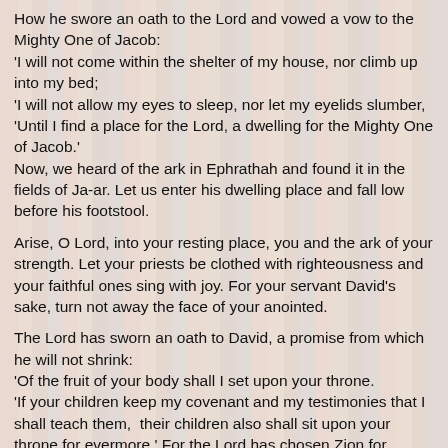How he swore an oath to the Lord and vowed a vow to the Mighty One of Jacob:
'I will not come within the shelter of my house, nor climb up into my bed;
'I will not allow my eyes to sleep, nor let my eyelids slumber,
'Until I find a place for the Lord, a dwelling for the Mighty One of Jacob.'
Now, we heard of the ark in Ephrathah and found it in the fields of Ja-ar. Let us enter his dwelling place and fall low before his footstool.
Arise, O Lord, into your resting place, you and the ark of your strength. Let your priests be clothed with righteousness and your faithful ones sing with joy. For your servant David's sake, turn not away the face of your anointed.
The Lord has sworn an oath to David, a promise from which he will not shrink:
'Of the fruit of your body shall I set upon your throne.
'If your children keep my covenant and my testimonies that I shall teach them,  their children also shall sit upon your throne for evermore.' For the Lord has chosen Zion for